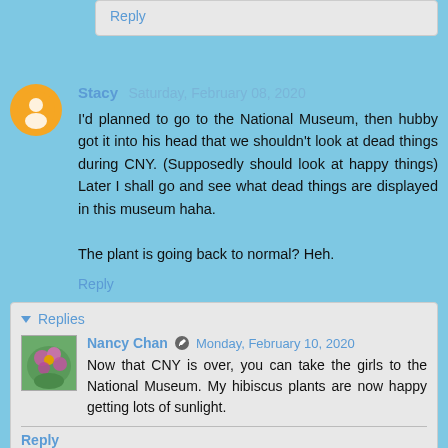Reply
Stacy  Saturday, February 08, 2020
I'd planned to go to the National Museum, then hubby got it into his head that we shouldn't look at dead things during CNY. (Supposedly should look at happy things) Later I shall go and see what dead things are displayed in this museum haha.

The plant is going back to normal? Heh.
Reply
▾ Replies
Nancy Chan  Monday, February 10, 2020
Now that CNY is over, you can take the girls to the National Museum. My hibiscus plants are now happy getting lots of sunlight.
Reply